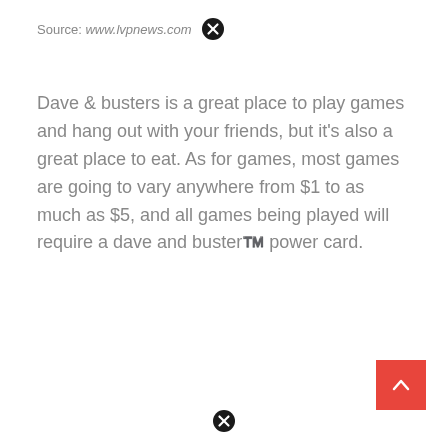Source: www.lvpnews.com
Dave & busters is a great place to play games and hang out with your friends, but it's also a great place to eat. As for games, most games are going to vary anywhere from $1 to as much as $5, and all games being played will require a dave and buster™️ power card.